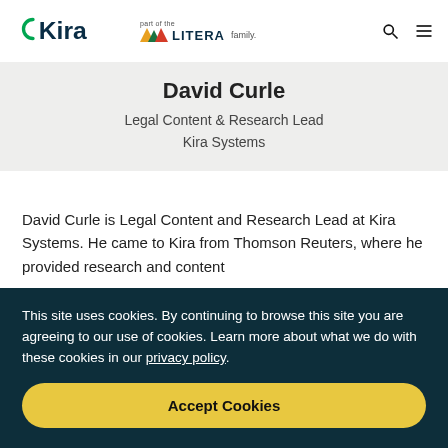Kira | part of the LITERA family.
David Curle
Legal Content & Research Lead
Kira Systems
David Curle is Legal Content and Research Lead at Kira Systems. He came to Kira from Thomson Reuters, where he provided research and content
This site uses cookies. By continuing to browse this site you are agreeing to our use of cookies. Learn more about what we do with these cookies in our privacy policy.
Accept Cookies